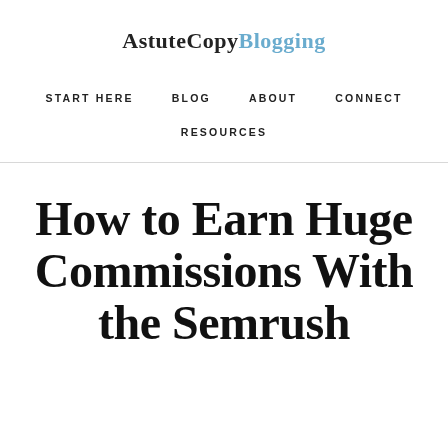AstuteCopyBlogging
START HERE   BLOG   ABOUT   CONNECT
RESOURCES
How to Earn Huge Commissions With the Semrush